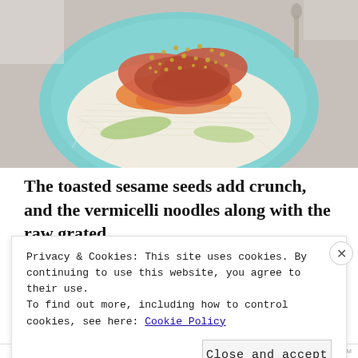[Figure (photo): A plate of vermicelli noodles with salmon, shredded carrots, cucumber, and toasted sesame seeds on a teal/turquoise plate, on a marble-like table surface.]
The toasted sesame seeds add crunch, and the vermicelli noodles along with the raw grated
Privacy & Cookies: This site uses cookies. By continuing to use this website, you agree to their use.
To find out more, including how to control cookies, see here: Cookie Policy
Close and accept